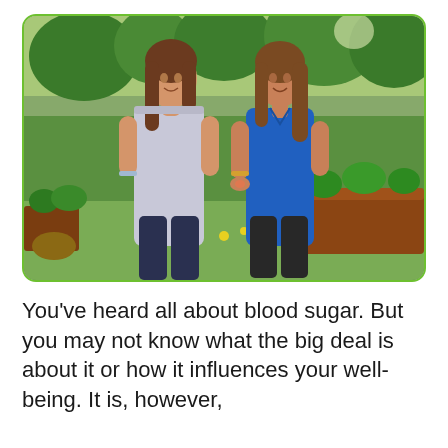[Figure (photo): Two women standing outdoors in a garden setting, facing each other and talking. The woman on the left wears a light gray sleeveless top and dark pants; the woman on the right wears a blue sleeveless top and dark pants and appears to be holding something small. There are raised garden beds with lush green plants in the background, and trees visible further back under bright sunlight.]
You've heard all about blood sugar. But you may not know what the big deal is about it or how it influences your well-being. It is, however, critical in ways that affect this and beyond the...